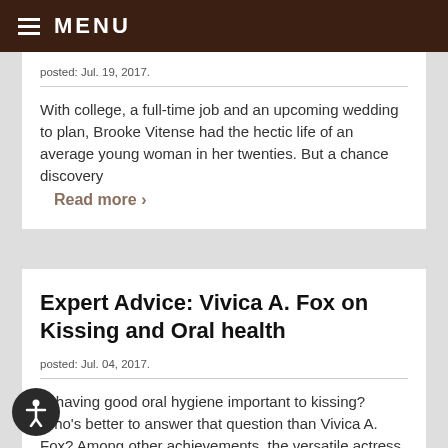MENU
posted: Jul. 19, 2017.
With college, a full-time job and an upcoming wedding to plan, Brooke Vitense had the hectic life of an average young woman in her twenties. But a chance discovery
Read more >
Expert Advice: Vivica A. Fox on Kissing and Oral health
posted: Jul. 04, 2017.
Is having good oral hygiene important to kissing? Who's better to answer that question than Vivica A. Fox? Among other achievements, the versatile actress won the "Best Kiss"
Read more >